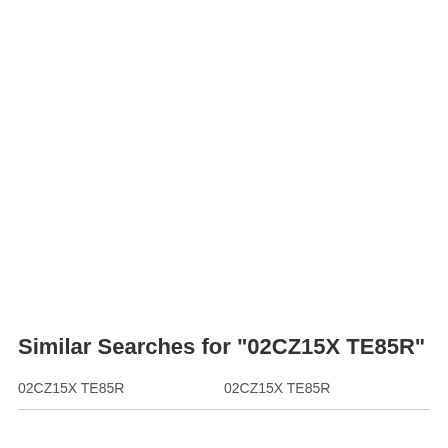Similar Searches for "02CZ15X TE85R"
02CZ15X TE85R
02CZ15X TE85R